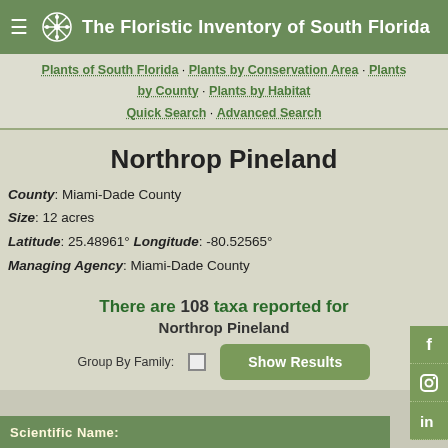The Floristic Inventory of South Florida
Plants of South Florida · Plants by Conservation Area · Plants by County · Plants by Habitat · Quick Search · Advanced Search
Northrop Pineland
County: Miami-Dade County
Size: 12 acres
Latitude: 25.48961° Longitude: -80.52565°
Managing Agency: Miami-Dade County
There are 108 taxa reported for Northrop Pineland
Group By Family: [checkbox] Show Results
Scientific Name: